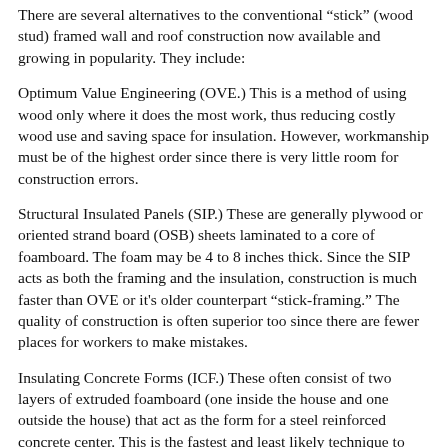There are several alternatives to the conventional "stick" (wood stud) framed wall and roof construction now available and growing in popularity. They include:
Optimum Value Engineering (OVE.) This is a method of using wood only where it does the most work, thus reducing costly wood use and saving space for insulation. However, workmanship must be of the highest order since there is very little room for construction errors.
Structural Insulated Panels (SIP.) These are generally plywood or oriented strand board (OSB) sheets laminated to a core of foamboard. The foam may be 4 to 8 inches thick. Since the SIP acts as both the framing and the insulation, construction is much faster than OVE or it's older counterpart "stick-framing." The quality of construction is often superior too since there are fewer places for workers to make mistakes.
Insulating Concrete Forms (ICF.) These often consist of two layers of extruded foamboard (one inside the house and one outside the house) that act as the form for a steel reinforced concrete center. This is the fastest and least likely technique to have construction mistakes.